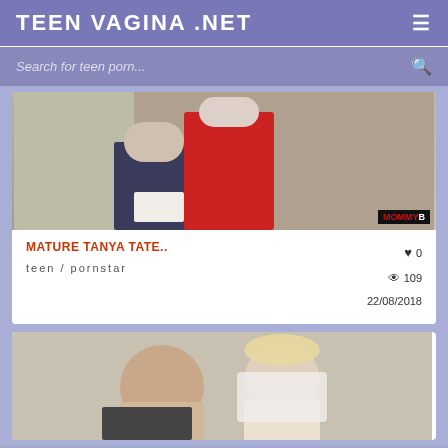TEEN VAGINA .NET
Search for teen porn...
[Figure (photo): Thumbnail image showing two people in a hallway, partial view. Overlay text: MOMMY B]
MATURE TANYA TATE..
teen / pornstar
0
109
22/08/2018
[Figure (photo): Thumbnail image showing two people, partially cropped]